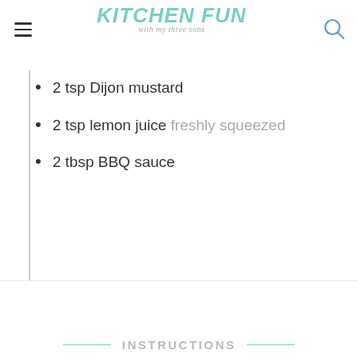Kitchen Fun with my three sons
2 tsp Dijon mustard
2 tsp lemon juice freshly squeezed
2 tbsp BBQ sauce
INSTRUCTIONS